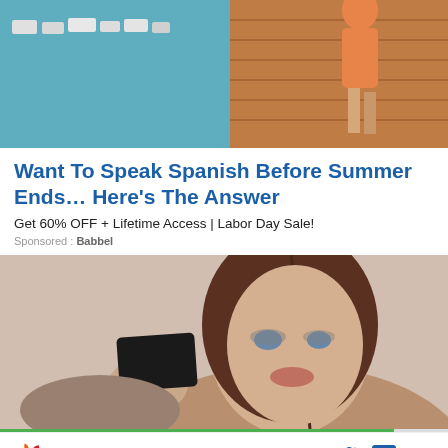[Figure (photo): Photo of a marina/dock scene with turquoise water, boats, and a person walking on a wooden pier in orange clothing]
Want To Speak Spanish Before Summer Ends… Here's The Answer
Get 60% OFF + Lifetime Access | Labor Day Sale!
Sponsored : Babbel
[Figure (photo): Photo of a young woman with long brown hair holding a small black card, smiling, against a beige/pink background]
CNBC logo with social media icons: Facebook, Twitter, LinkedIn, Email